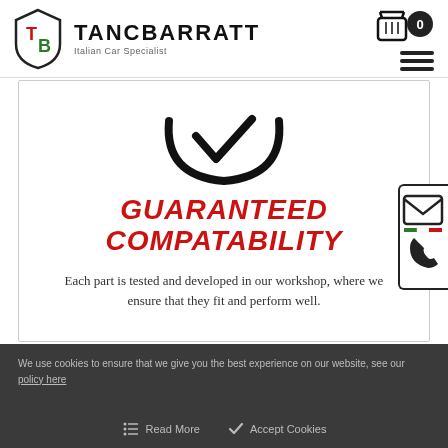TANCBARRATT Italian Car Specialist
[Figure (logo): Tancbarratt logo with shield and TB monogram]
[Figure (illustration): Large circular checkmark / tick icon in black outline]
GUARANTEED COMPATABILITY
Each part is tested and developed in our workshop, where we ensure that they fit and perform well.
[Figure (infographic): Contact widget with email envelope icon and phone icon, with Italian flag colored divider]
We use cookies to ensure that we give you the best experience on our website, see our policy here
Read More   Accept Cookies